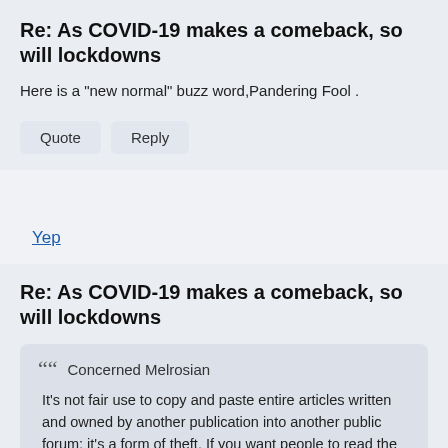Re: As COVID-19 makes a comeback, so will lockdowns
Here is a "new normal" buzz word,Pandering Fool .
Yep
Re: As COVID-19 makes a comeback, so will lockdowns
Concerned Melrosian
It's not fair use to copy and paste entire articles written and owned by another publication into another public forum; it's a form of theft. If you want people to read the article, just include a link to it instead.